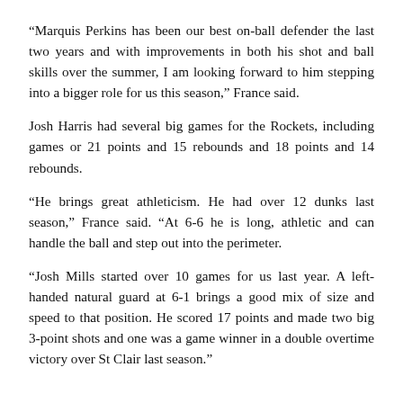“Marquis Perkins has been our best on-ball defender the last two years and with improvements in both his shot and ball skills over the summer, I am looking forward to him stepping into a bigger role for us this season,” France said.
Josh Harris had several big games for the Rockets, including games or 21 points and 15 rebounds and 18 points and 14 rebounds.
“He brings great athleticism. He had over 12 dunks last season,” France said. “At 6-6 he is long, athletic and can handle the ball and step out into the perimeter.
“Josh Mills started over 10 games for us last year. A left-handed natural guard at 6-1 brings a good mix of size and speed to that position. He scored 17 points and made two big 3-point shots and one was a game winner in a double overtime victory over St Clair last season.”